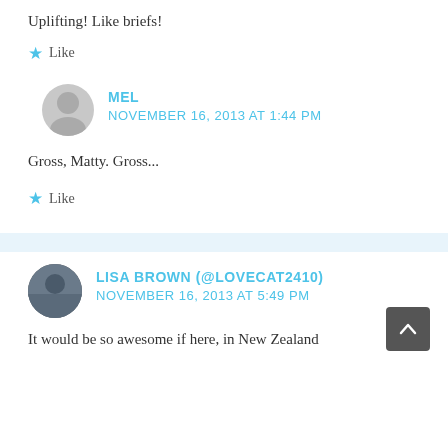Uplifting! Like briefs!
★ Like
MEL
NOVEMBER 16, 2013 AT 1:44 PM
Gross, Matty. Gross...
★ Like
LISA BROWN (@LOVECAT2410)
NOVEMBER 16, 2013 AT 5:49 PM
It would be so awesome if here, in New Zealand